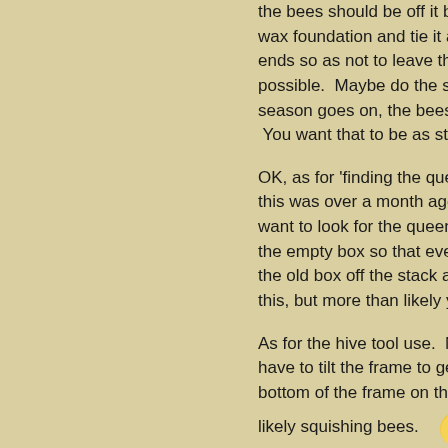the bees should be off it by then.  Use the wax foundation and tie it around the bottom ends so as not to leave the sharp exposed. possible.  Maybe do the same on the sides. season goes on, the bees will be filling it with You want that to be as sturdy a frame as pos
OK, as for 'finding the queen'.  You're assum this was over a month ago now, you definitely want to look for the queen bring an empty bo the empty box so that eventually all your fra the old box off the stack and your bees with a this, but more than likely your queen was so
As for the hive tool use.  Moving your frames have to tilt the frame to get it out of the box, bottom of the frame on that side is being pus likely squishing bees.
I wasn't sure what your top box (was that a n like you still had a feeder on when you remo shouldn't be having a super on at the same t your sugar syrup.
As you closed up the hive, it looks as though outer cover -without the feeder.  You didn't ha